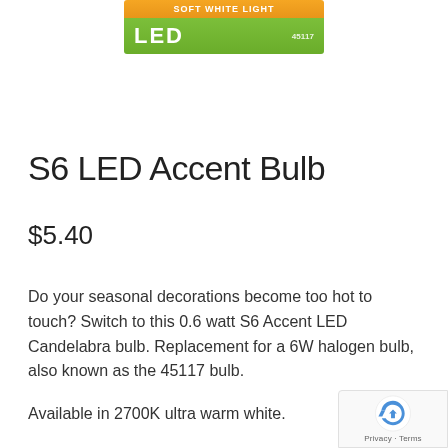[Figure (photo): Product label showing 'SOFT WHITE LIGHT' in orange banner and 'LED' in green banner with '45117' number]
S6 LED Accent Bulb
$5.40
Do your seasonal decorations become too hot to touch? Switch to this 0.6 watt S6 Accent LED Candelabra bulb. Replacement for a 6W halogen bulb, also known as the 45117 bulb.
Available in 2700K ultra warm white.